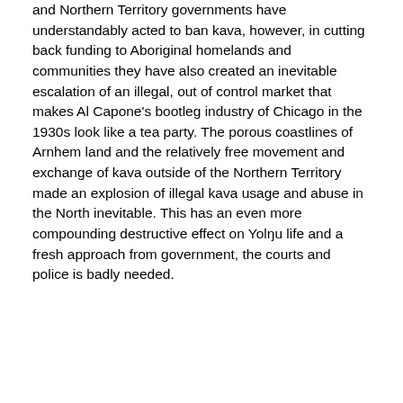and Northern Territory governments have understandably acted to ban kava, however, in cutting back funding to Aboriginal homelands and communities they have also created an inevitable escalation of an illegal, out of control market that makes Al Capone's bootleg industry of Chicago in the 1930s look like a tea party. The porous coastlines of Arnhem land and the relatively free movement and exchange of kava outside of the Northern Territory made an explosion of illegal kava usage and abuse in the North inevitable. This has an even more compounding destructive effect on Yolŋu life and a fresh approach from government, the courts and police is badly needed.
This article is available to be downloaded free of charge from 10am 11 May, 2015. It will be discussed exclusively on the Sandy Dann Country Affairs show Radio Goolarri Broome at 10.15 WST or 12.15 EST. For comment call Peter Botsman on 0244651665.